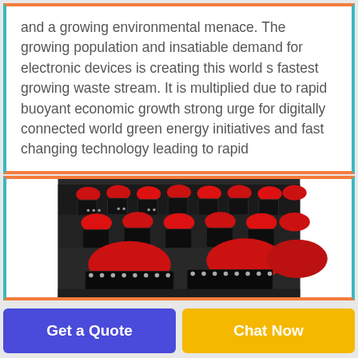and a growing environmental menace. The growing population and insatiable demand for electronic devices is creating this world s fastest growing waste stream. It is multiplied due to rapid buoyant economic growth strong urge for digitally connected world green energy initiatives and fast changing technology leading to rapid
[Figure (photo): Rows of black and red electronic recycling machines or arcade-style chairs arranged in a large facility, photographed from a low angle showing the red padded seats and black metal frames with silver bolts.]